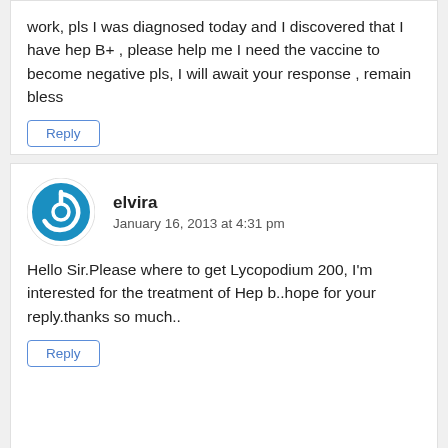work, pls I was diagnosed today and I discovered that I have hep B+ , please help me I need the vaccine to become negative pls, I will await your response , remain bless
Reply
elvira
January 16, 2013 at 4:31 pm
Hello Sir.Please where to get Lycopodium 200, I'm interested for the treatment of Hep b..hope for your reply.thanks so much..
Reply
Dr. S M Fuad
January 20, 2013 at 1:17 pm